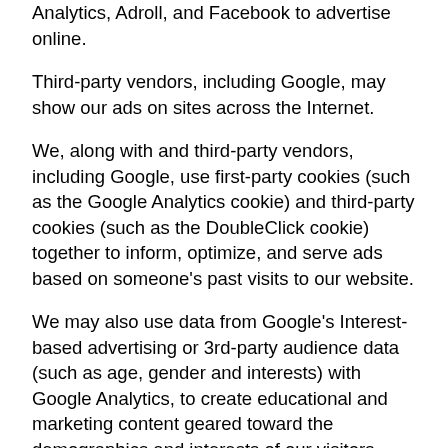Analytics, Adroll, and Facebook to advertise online.
Third-party vendors, including Google, may show our ads on sites across the Internet.
We, along with and third-party vendors, including Google, use first-party cookies (such as the Google Analytics cookie) and third-party cookies (such as the DoubleClick cookie) together to inform, optimize, and serve ads based on someone's past visits to our website.
We may also use data from Google's Interest-based advertising or 3rd-party audience data (such as age, gender and interests) with Google Analytics, to create educational and marketing content geared toward the demographics and interests of our visitors.
You can opt-out of Google Analytics for Display Advertising and customize Google Display Network ads using Google Ads Settings.